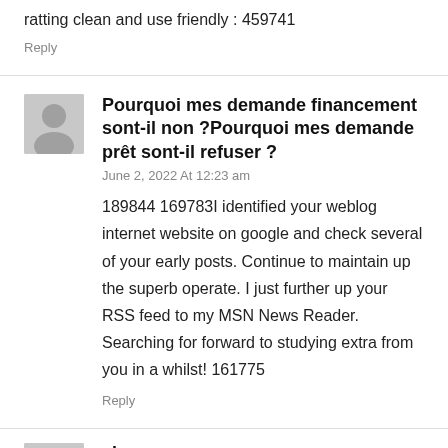ratting clean and use friendly : 459741
Reply
Pourquoi mes demande financement sont-il non ?Pourquoi mes demande prêt sont-il refuser ?
June 2, 2022 At 12:23 am
189844 169783I identified your weblog internet website on google and check several of your early posts. Continue to maintain up the superb operate. I just further up your RSS feed to my MSN News Reader. Searching for forward to studying extra from you in a whilst! 161775
Reply
sbo
June 6, 2022 At 1:01 am
729444 759744I like this website because so considerably helpful material on here : D. 598660